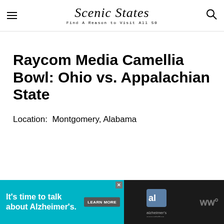Scenic States — Find A Reason to Visit All 50
Raycom Media Camellia Bowl: Ohio vs. Appalachian State
Location:  Montgomery, Alabama
[Figure (other): Advertisement banner: teal background with text 'It's time to talk about Alzheimer's.' with a LEARN MORE button and Alzheimer's Association logo]